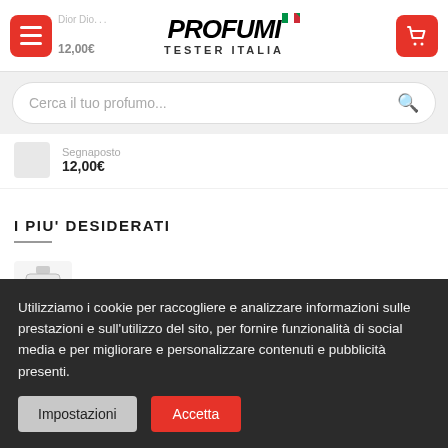[Figure (screenshot): Website header for Profumi Tester Italia with hamburger menu button, logo, and cart button. Partially visible product info: Dior Dio... and 12,00€]
[Figure (screenshot): Search bar with placeholder text 'Cerca il tuo profumo...' and search icon]
Segnaposto
12,00€
I PIU' DESIDERATI
[Figure (photo): Calvin Klein CK One EDT 200 ML bottle thumbnail]
CALVIN KLEIN CK ONE EDT 200 ML
30,00€
Utilizziamo i cookie per raccogliere e analizzare informazioni sulle prestazioni e sull'utilizzo del sito, per fornire funzionalità di social media e per migliorare e personalizzare contenuti e pubblicità presenti.
Impostazioni
Accetta